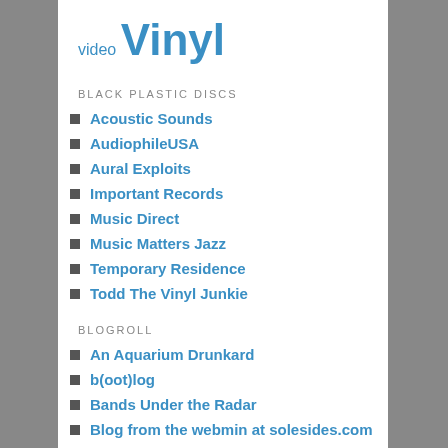video Vinyl
BLACK PLASTIC DISCS
Acoustic Sounds
AudiophileUSA
Aural Exploits
Important Records
Music Direct
Music Matters Jazz
Temporary Residence
Todd The Vinyl Junkie
BLOGROLL
An Aquarium Drunkard
b(oot)log
Bands Under the Radar
Blog from the webmin at solesides.com
Catbirdseat
For The Records